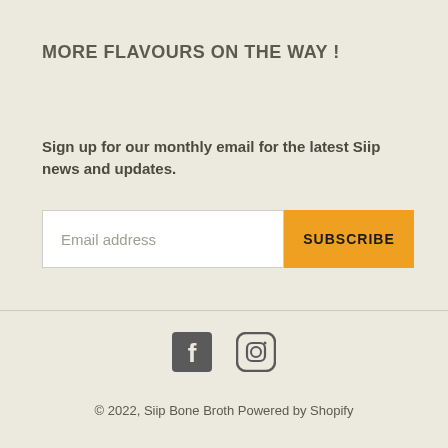MORE FLAVOURS ON THE WAY !
Sign up for our monthly email for the latest Siip news and updates.
[Figure (other): Email subscription form with email address input field and orange SUBSCRIBE button]
[Figure (other): Social media icons: Facebook and Instagram]
© 2022, Siip Bone Broth Powered by Shopify